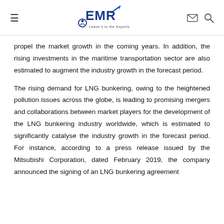EMR — Leave it to the Experts (logo header)
propel the market growth in the coming years. In addition, the rising investments in the maritime transportation sector are also estimated to augment the industry growth in the forecast period.
The rising demand for LNG bunkering, owing to the heightened pollution issues across the globe, is leading to promising mergers and collaborations between market players for the development of the LNG bunkering industry worldwide, which is estimated to significantly catalyse the industry growth in the forecast period. For instance, according to a press release issued by the Mitsubishi Corporation, dated February 2019, the company announced the signing of an LNG bunkering agreement